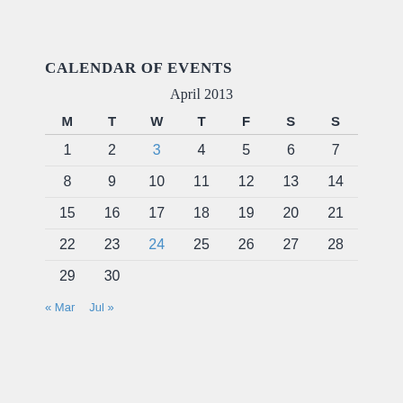CALENDAR OF EVENTS
| M | T | W | T | F | S | S |
| --- | --- | --- | --- | --- | --- | --- |
| 1 | 2 | 3 | 4 | 5 | 6 | 7 |
| 8 | 9 | 10 | 11 | 12 | 13 | 14 |
| 15 | 16 | 17 | 18 | 19 | 20 | 21 |
| 22 | 23 | 24 | 25 | 26 | 27 | 28 |
| 29 | 30 |  |  |  |  |  |
« Mar   Jul »